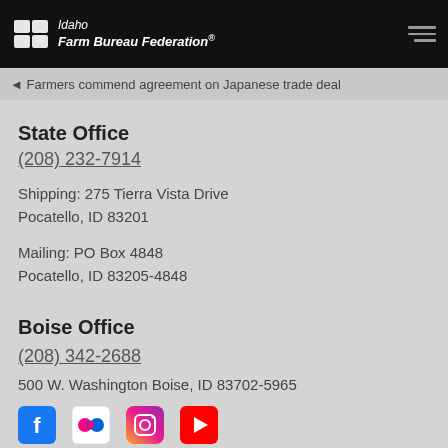Idaho Farm Bureau Federation
◄ Farmers commend agreement on Japanese trade deal
State Office
(208) 232-7914
Shipping: 275 Tierra Vista Drive
Pocatello, ID 83201
Mailing: PO Box 4848
Pocatello, ID 83205-4848
Boise Office
(208) 342-2688
500 W. Washington Boise, ID 83702-5965
[Figure (logo): Social media icons: Facebook, Flickr, Instagram, YouTube]